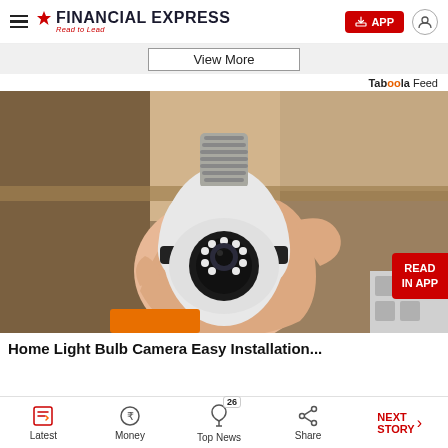Financial Express - Read to Lead
View More
Taboola Feed
[Figure (photo): A hand holding a white smart light bulb security camera with a camera lens and LED lights visible on the front, with a READ IN APP badge overlay in the bottom right corner.]
Home Light Bulb Camera Easy Installation
Latest | Money | Top News (26) | Share | NEXT STORY